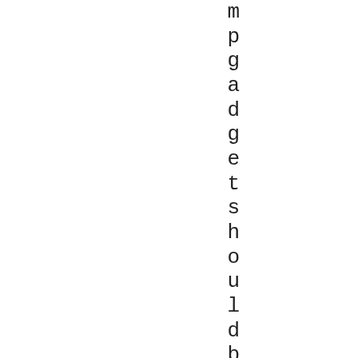m p g a d g e t s h o u l d b e d u r a b l e , a e s t h e